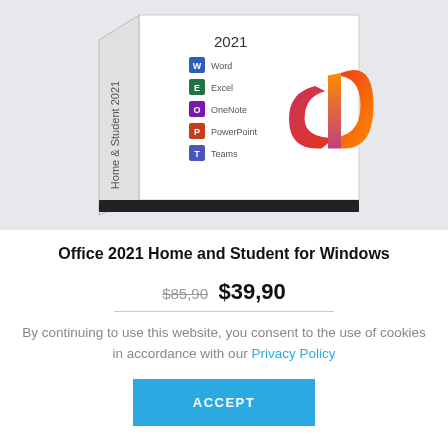[Figure (illustration): Microsoft Office 2021 Home & Student product box with Microsoft Office logo (red/orange ribbon shape). The box front shows the 2021 year, Microsoft Office logo and list of included apps: Word, Excel, OneNote, PowerPoint, Teams. The box spine reads 'Home & Student 2021'.]
Office 2021 Home and Student for Windows
$85,90 $39,90
By continuing to use this website, you consent to the use of cookies in accordance with our Privacy Policy
ACCEPT